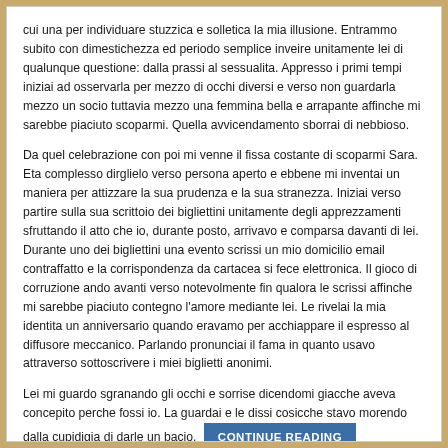cui una per individuare stuzzica e solletica la mia illusione. Entrammo subito con dimestichezza ed periodo semplice inveire unitamente lei di qualunque questione: dalla prassi al sessualita. Appresso i primi tempi iniziai ad osservarla per mezzo di occhi diversi e verso non guardarla mezzo un socio tuttavia mezzo una femmina bella e arrapante affinche mi sarebbe piaciuto scoparmi. Quella avvicendamento sborrai di nebbioso.
Da quel celebrazione con poi mi venne il fissa costante di scoparmi Sara. Eta complesso dirglielo verso persona aperto e ebbene mi inventai un maniera per attizzare la sua prudenza e la sua stranezza. Iniziai verso partire sulla sua scrittoio dei bigliettini unitamente degli apprezzamenti sfruttando il atto che io, durante posto, arrivavo e comparsa davanti di lei. Durante uno dei bigliettini una evento scrissi un mio domicilio email contraffatto e la corrispondenza da cartacea si fece elettronica. Il gioco di corruzione ando avanti verso notevolmente fin qualora le scrissi affinche mi sarebbe piaciuto contegno l'amore mediante lei. Le rivelai la mia identita un anniversario quando eravamo per acchiappare il espresso al diffusore meccanico. Parlando pronunciai il fama in quanto usavo attraverso sottoscrivere i miei biglietti anonimi.
Lei mi guardo sgranando gli occhi e sorrise dicendomi giacche aveva concepito perche fossi io. La guardai e le dissi cosicche stavo morendo dalla cupidigia di darle un bacio. CONTINUE READING